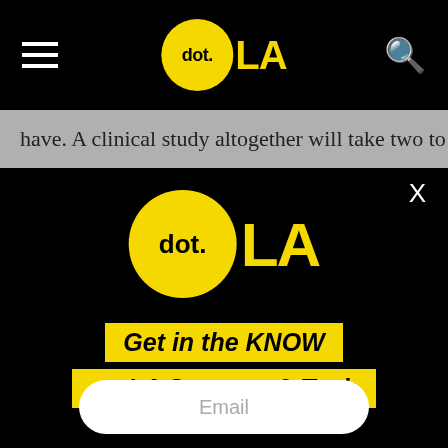[Figure (logo): dot.LA logo in navigation bar — yellow circle with 'dot.' text and bold yellow 'LA' text, on black background with hamburger menu and search icon]
have. A clinical study altogether will take two to three
[Figure (logo): dot.LA logo large centered on black overlay panel — large yellow circle with 'dot.' and bold yellow 'LA']
X
Get in the KNOW on LA Startups & Tech
Email